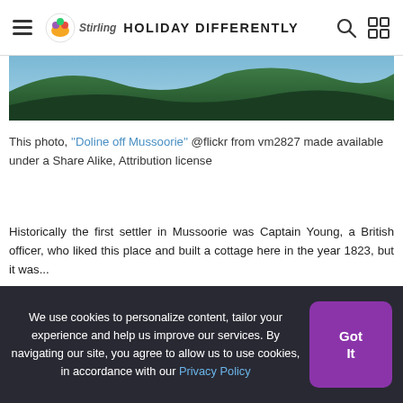HOLIDAY DIFFERENTLY
[Figure (photo): Partial view of a nature/landscape photo showing green hills and sky (bottom portion visible), taken near Mussoorie]
This photo, "Doline off Mussoorie" @flickr from vm2827 made available under a Share Alike, Attribution license
Historically the first settler in Mussoorie was Captain Young, a British officer, who liked this place and built a cottage here in the year 1823...
We use cookies to personalize content, tailor your experience and help us improve our services. By navigating our site, you agree to allow us to use cookies, in accordance with our Privacy Policy